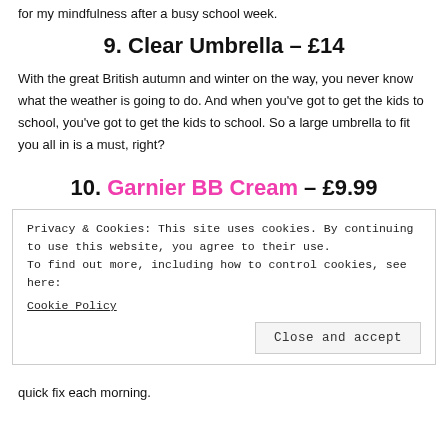for my mindfulness after a busy school week.
9. Clear Umbrella – £14
With the great British autumn and winter on the way, you never know what the weather is going to do. And when you've got to get the kids to school, you've got to get the kids to school. So a large umbrella to fit you all in is a must, right?
10. Garnier BB Cream – £9.99
Privacy & Cookies: This site uses cookies. By continuing to use this website, you agree to their use.
To find out more, including how to control cookies, see here:
Cookie Policy
Close and accept
quick fix each morning.